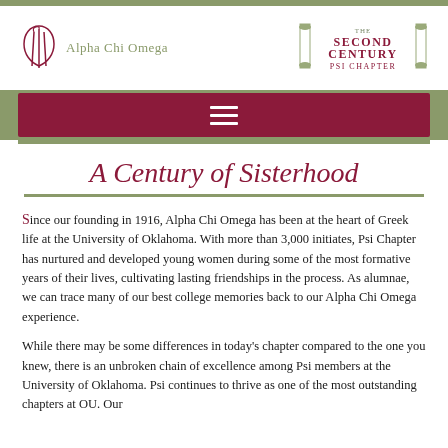[Figure (logo): Alpha Chi Omega logo with harp icon and text 'Alpha Chi Omega' in olive green, alongside 'THE SECOND CENTURY PSI CHAPTER' text with column/pillar decorative element in gray-olive]
[Figure (other): Dark red navigation bar with hamburger menu icon (three horizontal white lines) on olive green background border]
A Century of Sisterhood
Since our founding in 1916, Alpha Chi Omega has been at the heart of Greek life at the University of Oklahoma. With more than 3,000 initiates, Psi Chapter has nurtured and developed young women during some of the most formative years of their lives, cultivating lasting friendships in the process. As alumnae, we can trace many of our best college memories back to our Alpha Chi Omega experience.
While there may be some differences in today's chapter compared to the one you knew, there is an unbroken chain of excellence among Psi members at the University of Oklahoma. Psi continues to thrive as one of the most outstanding chapters at OU. Our